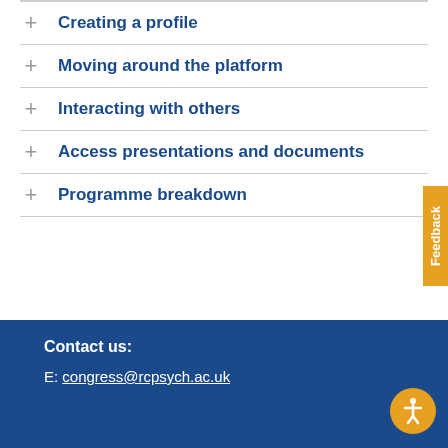Creating a profile
Moving around the platform
Interacting with others
Access presentations and documents
Programme breakdown
Contact us:
E: congress@rcpsych.ac.uk